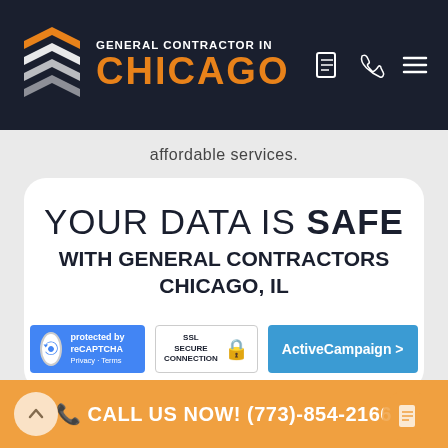[Figure (logo): General Contractor in Chicago logo with layered chevron icon and orange CHICAGO text on dark background, with navigation icons]
affordable services.
YOUR DATA IS SAFE WITH GENERAL CONTRACTORS CHICAGO, IL
[Figure (infographic): Three security/trust badges: reCAPTCHA protected badge, SSL Secure Connection badge, and ActiveCampaign badge]
CALL US NOW! (773)-854-2166